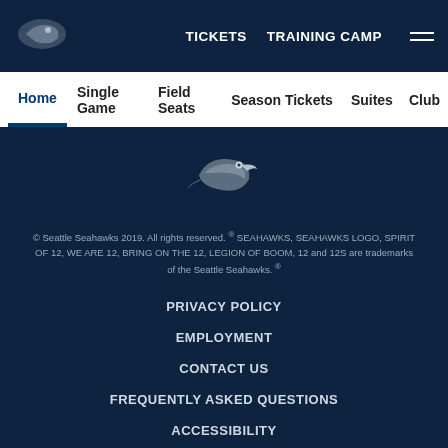TICKETS   TRAINING CAMP
Home  Single Game  Field Seats  Season Tickets  Suites  Club
[Figure (logo): Seattle Seahawks logo in white/silver on dark navy background]
© Seattle Seahawks 2019. All rights reserved. ® SEAHAWKS, SEAHAWKS LOGO, SPIRIT OF 12, WE ARE 12, BRING ON THE 12, LEGION OF BOOM, 12 and 12S are trademarks of the Seattle Seahawks. ®
PRIVACY POLICY
EMPLOYMENT
CONTACT US
FREQUENTLY ASKED QUESTIONS
ACCESSIBILITY